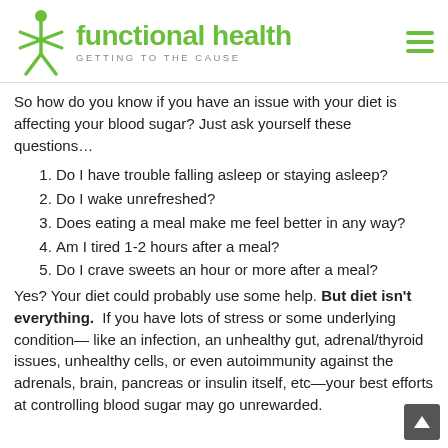functional health — GETTING TO THE CAUSE
So how do you know if you have an issue with your diet is affecting your blood sugar? Just ask yourself these questions…
Do I have trouble falling asleep or staying asleep?
Do I wake unrefreshed?
Does eating a meal make me feel better in any way?
Am I tired 1-2 hours after a meal?
Do I crave sweets an hour or more after a meal?
Yes? Your diet could probably use some help. But diet isn't everything.  If you have lots of stress or some underlying condition— like an infection, an unhealthy gut, adrenal/thyroid issues, unhealthy cells, or even autoimmunity against the adrenals, brain, pancreas or insulin itself, etc—your best efforts at controlling blood sugar may go unrewarded.